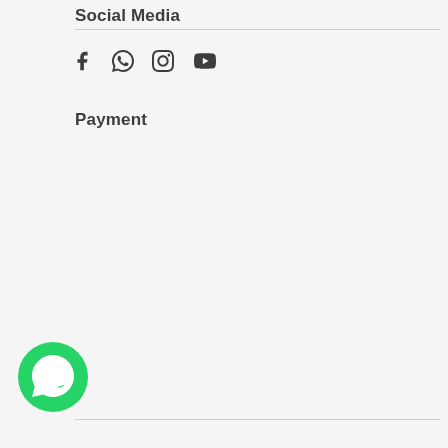Social Media
[Figure (illustration): Social media icons: Facebook, WhatsApp, Instagram, YouTube]
Payment
[Figure (illustration): WhatsApp floating button (green circle with phone handset icon)]